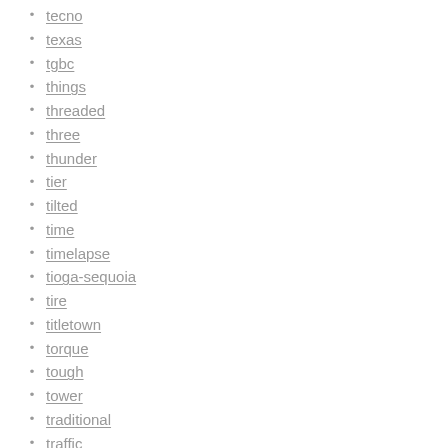tecno
texas
tgbc
things
threaded
three
thunder
tier
tilted
time
timelapse
tioga-sequoia
tire
titletown
torque
tough
tower
traditional
traffic
trail